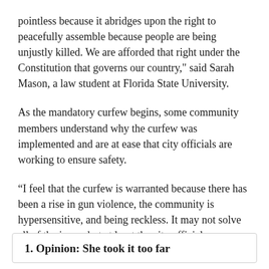pointless because it abridges upon the right to peacefully assemble because people are being unjustly killed. We are afforded that right under the Constitution that governs our country," said Sarah Mason, a law student at Florida State University.
As the mandatory curfew begins, some community members understand why the curfew was implemented and are at ease that city officials are working to ensure safety.
“I feel that the curfew is warranted because there has been a rise in gun violence, the community is hypersensitive, and being reckless. It may not solve all of the issues but at least the city officials are trying to do something,” Kelley Morton said.
1. Opinion: She took it too far